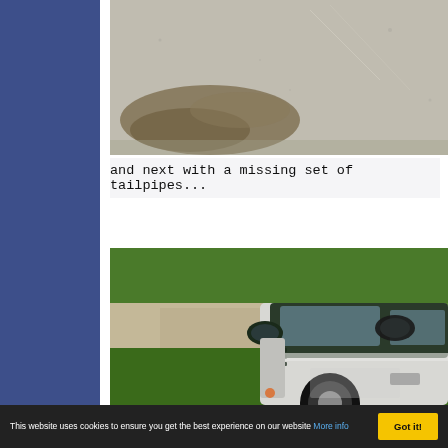[Figure (photo): Close-up photo of a road surface or pavement with a dirt/mud stain visible on the asphalt]
and next with a missing set of tailpipes...
[Figure (photo): Photo of a sports car (appears to be a Porsche 928 or similar) in silver/white and dark green two-tone, parked on a gravel/dirt track with green grass and bushes in the background]
This website uses cookies to ensure you get the best experience on our website More info
Got it!